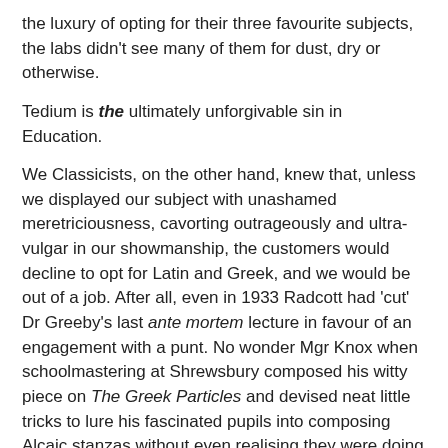the luxury of opting for their three favourite subjects, the labs didn't see many of them for dust, dry or otherwise.
Tedium is the ultimately unforgivable sin in Education.
We Classicists, on the other hand, knew that, unless we displayed our subject with unashamed meretriciousness, cavorting outrageously and ultra-vulgar in our showmanship, the customers would decline to opt for Latin and Greek, and we would be out of a job. After all, even in 1933 Radcott had 'cut' Dr Greeby's last ante mortem lecture in favour of an engagement with a punt. No wonder Mgr Knox when schoolmastering at Shrewsbury composed his witty piece on The Greek Particles and devised neat little tricks to lure his fascinated pupils into composing Alcaic stanzas without even realising they were doing so.
I still get former pupils reminding me "Father, do you remember when you ..." (I usually don't).
This is what comes into my mind whenever there are yet more calls, since "this country so badly needs more